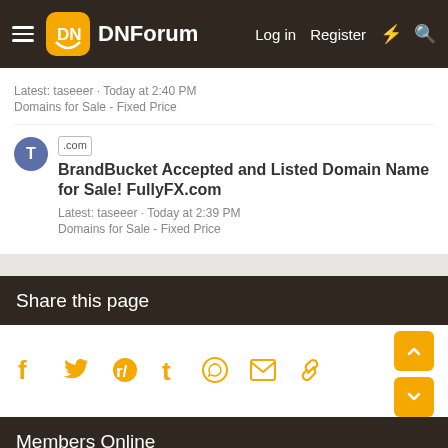DNForum | Log in | Register
Latest: taseeer · Today at 2:40 PM
Domains for Sale - Fixed Price
.com BrandBucket Accepted and Listed Domain Name for Sale! FullyFX.com
Latest: taseeer · Today at 2:39 PM
Domains for Sale - Fixed Price
Share this page
Facebook, Twitter, Reddit, Tumblr, WhatsApp, Email, Link icons
Members Online